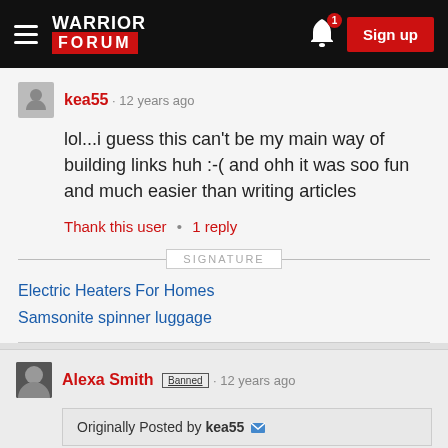Warrior Forum — Sign up
kea55 · 12 years ago
lol...i guess this can't be my main way of building links huh :-( and ohh it was soo fun and much easier than writing articles
Thank this user • 1 reply
SIGNATURE
Electric Heaters For Homes
Samsonite spinner luggage
Alexa Smith Banned · 12 years ago
Originally Posted by kea55